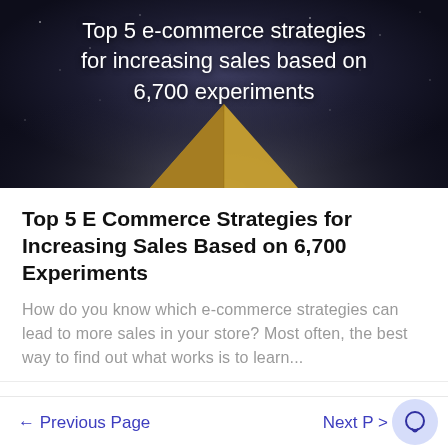[Figure (illustration): Dark space/galaxy background with a golden pyramid in the center-bottom, and white bold text overlay reading 'Top 5 e-commerce strategies for increasing sales based on 6,700 experiments']
Top 5 E Commerce Strategies for Increasing Sales Based on 6,700 Experiments
How do you know which e-commerce strategies can lead to more sales in your store? Most often, the best way to find out what works is to learn...
← Previous Page   Next P >